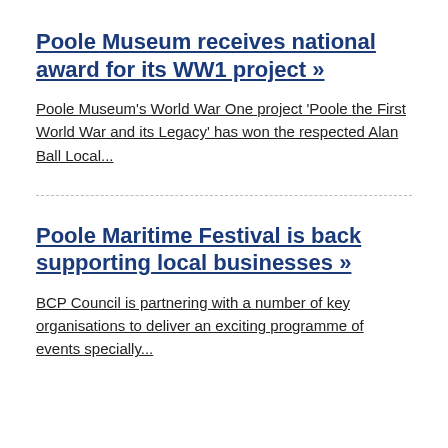Poole Museum receives national award for its WW1 project »
Poole Museum's World War One project 'Poole the First World War and its Legacy' has won the respected Alan Ball Local...
Poole Maritime Festival is back supporting local businesses »
BCP Council is partnering with a number of key organisations to deliver an exciting programme of events specially...